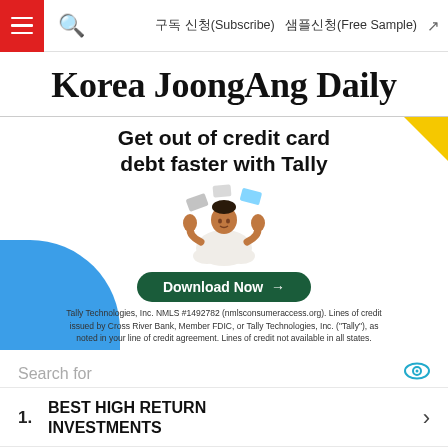≡  🔍   구독 신청(Subscribe)  샘플신청(Free Sample)  ↗
Korea JoongAng Daily
[Figure (advertisement): Tally app advertisement. Headline: 'Get out of credit card debt faster with Tally'. Illustration of person meditating with credit cards floating. Green 'Download Now →' button. Fine print about Tally Technologies, Inc. NMLS #1492782. Blue quarter-circle in lower-left, yellow triangle in upper-right.]
Search for
1. BEST HIGH RETURN INVESTMENTS
2. CELL PHONE DIRECTORY